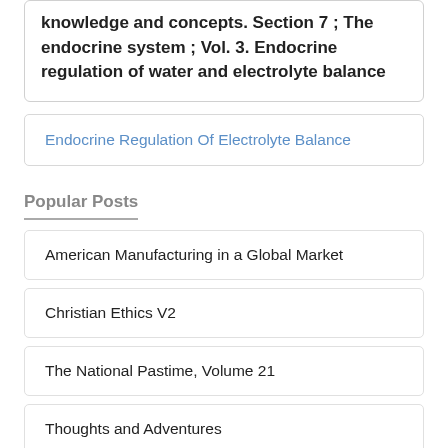knowledge and concepts. Section 7 ; The endocrine system ; Vol. 3. Endocrine regulation of water and electrolyte balance
Endocrine Regulation Of Electrolyte Balance
Popular Posts
American Manufacturing in a Global Market
Christian Ethics V2
The National Pastime, Volume 21
Thoughts and Adventures